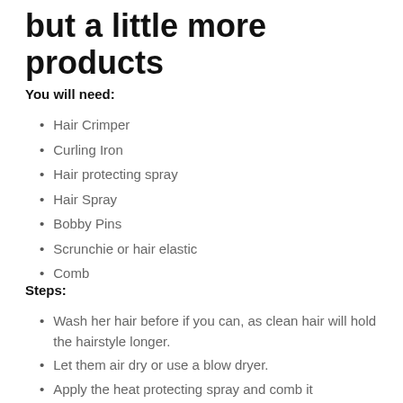but a little more products
You will need:
Hair Crimper
Curling Iron
Hair protecting spray
Hair Spray
Bobby Pins
Scrunchie or hair elastic
Comb
Steps:
Wash her hair before if you can, as clean hair will hold the hairstyle longer.
Let them air dry or use a blow dryer.
Apply the heat protecting spray and comb it...